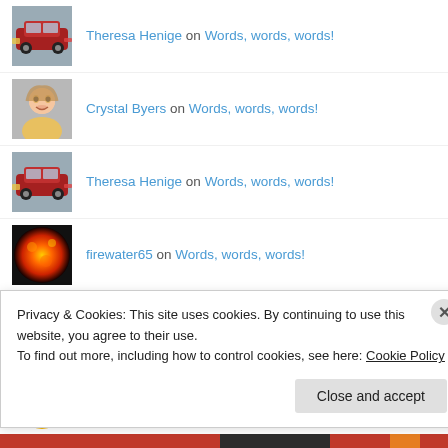Theresa Henige on Words, words, words!
Crystal Byers on Words, words, words!
Theresa Henige on Words, words, words!
firewater65 on Words, words, words!
Theresa Henige on Dictionaries?
Smithasbakelove on The WordPress Block Editor Suc...
Privacy & Cookies: This site uses cookies. By continuing to use this website, you agree to their use.
To find out more, including how to control cookies, see here: Cookie Policy
Close and accept